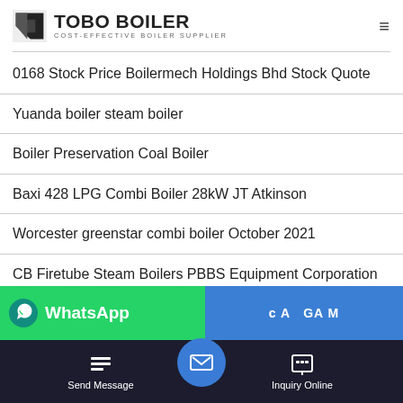TOBO BOILER — COST-EFFECTIVE BOILER SUPPLIER
0168 Stock Price Boilermech Holdings Bhd Stock Quote
Yuanda boiler steam boiler
Boiler Preservation Coal Boiler
Baxi 428 LPG Combi Boiler 28kW JT Atkinson
Worcester greenstar combi boiler October 2021
CB Firetube Steam Boilers PBBS Equipment Corporation Total
Send Message | Inquiry Online